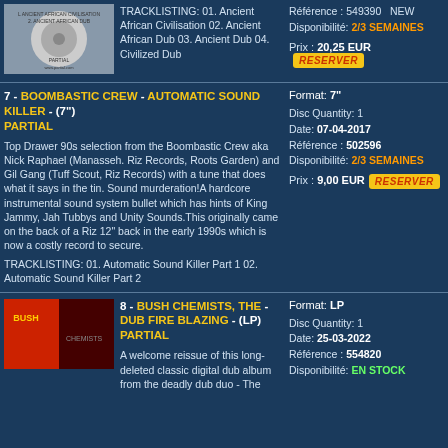[Figure (photo): Album cover thumbnail for Ancient African Civilisation]
TRACKLISTING: 01. Ancient African Civilisation 02. Ancient African Dub 03. Ancient Dub 04. Civilized Dub
Référence : 549390   NEW
Disponibilité: 2/3 SEMAINES
Prix : 20,25 EUR  RESERVER
7 - BOOMBASTIC CREW - AUTOMATIC SOUND KILLER - (7")
PARTIAL
Format: 7"
Disc Quantity: 1
Date: 07-04-2017
Référence : 502596
Disponibilité: 2/3 SEMAINES
Prix : 9,00 EUR  RESERVER
Top Drawer 90s selection from the Boombastic Crew aka Nick Raphael (Manasseh. Riz Records, Roots Garden) and Gil Gang (Tuff Scout, Riz Records) with a tune that does what it says in the tin. Sound murderation!A hardcore instrumental sound system bullet which has hints of King Jammy, Jah Tubbys and Unity Sounds.This originally came on the back of a Riz 12" back in the early 1990s which is now a costly record to secure.
TRACKLISTING: 01. Automatic Sound Killer Part 1 02. Automatic Sound Killer Part 2
[Figure (photo): Album cover thumbnail for Bush Chemists - Dub Fire Blazing]
8 - BUSH CHEMISTS, THE - DUB FIRE BLAZING - (LP)
PARTIAL
Format: LP
Disc Quantity: 1
Date: 25-03-2022
Référence : 554820
Disponibilité: EN STOCK
A welcome reissue of this long-deleted classic digital dub album from the deadly dub duo - The